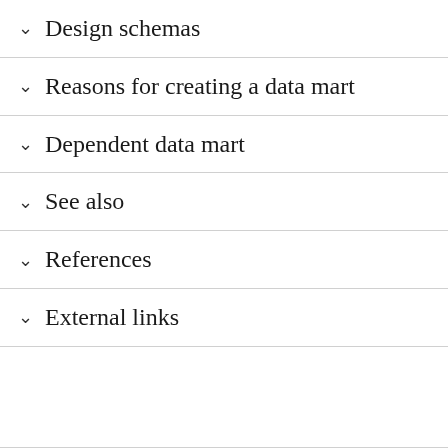Design schemas
Reasons for creating a data mart
Dependent data mart
See also
References
External links